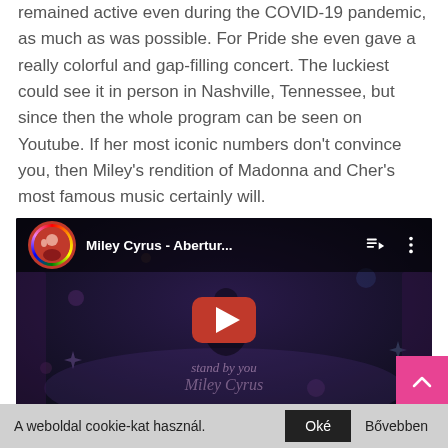remained active even during the COVID-19 pandemic, as much as was possible. For Pride she even gave a really colorful and gap-filling concert. The luckiest could see it in person in Nashville, Tennessee, but since then the whole program can be seen on Youtube. If her most iconic numbers don't convince you, then Miley's rendition of Madonna and Cher's most famous music certainly will.
[Figure (screenshot): Embedded YouTube video player showing a Miley Cyrus concert video titled 'Miley Cyrus - Abertur...' with a rainbow-bordered avatar icon, play button overlay, and watermark text 'stand by you / Miley Cyrus']
A weboldal cookie-kat használ.   Oké   Bővebben